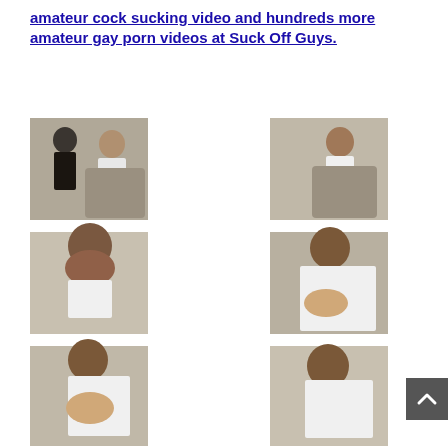amateur cock sucking video and hundreds more amateur gay porn videos at Suck Off Guys.
[Figure (photo): Grid of six photos showing two men in a room, one in a white shirt and red shorts seated in a chair, the other leaning over, captured in various poses across six thumbnail images]
[Figure (other): Scroll-to-top button with upward arrow chevron on dark grey background]